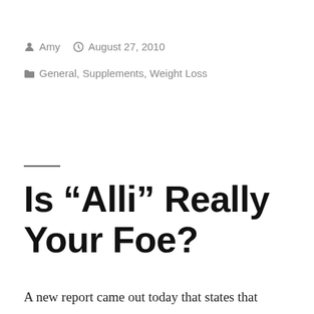Amy  August 27, 2010
General, Supplements, Weight Loss
Is “Alli” Really Your Foe?
A new report came out today that states that